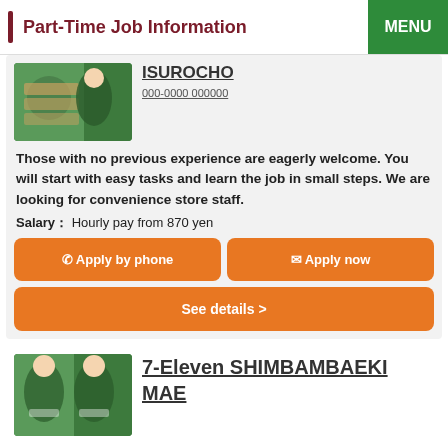Part-Time Job Information
[Figure (photo): Convenience store staff in green uniform stocking shelves]
ISUROCHO
000-0000 000000
Those with no previous experience are eagerly welcome. You will start with easy tasks and learn the job in small steps. We are looking for convenience store staff.
Salary： Hourly pay from 870 yen
Apply by phone
Apply now
See details >
[Figure (photo): Two convenience store staff members in green uniforms smiling]
7-Eleven SHIMBAMBAEKI MAE